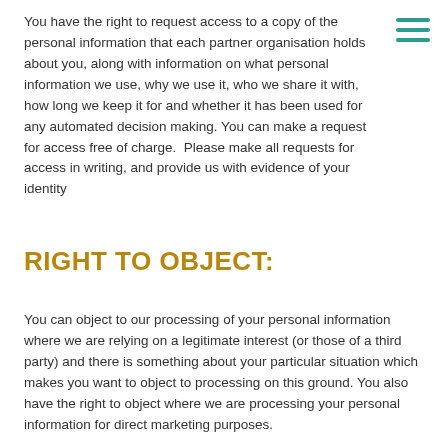You have the right to request access to a copy of the personal information that each partner organisation holds about you, along with information on what personal information we use, why we use it, who we share it with, how long we keep it for and whether it has been used for any automated decision making. You can make a request for access free of charge.  Please make all requests for access in writing, and provide us with evidence of your identity
RIGHT TO OBJECT:
You can object to our processing of your personal information where we are relying on a legitimate interest (or those of a third party) and there is something about your particular situation which makes you want to object to processing on this ground. You also have the right to object where we are processing your personal information for direct marketing purposes.